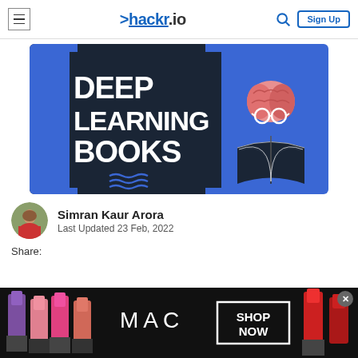hackr.io navigation bar with hamburger menu, logo, search icon, and Sign Up button
[Figure (illustration): Deep Learning Books banner image with dark navy background and blue accent. Large bold white text reads DEEP LEARNING BOOKS. Right side shows a brain with glasses sitting on top of an open book on a blue background.]
Simran Kaur Arora
Last Updated 23 Feb, 2022
Share:
[Figure (photo): MAC Cosmetics advertisement banner showing colorful lipsticks (purple, pink, coral, red) with MAC logo and SHOP NOW button in a black outlined box.]